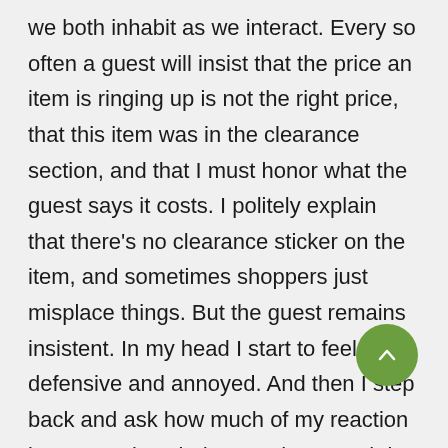we both inhabit as we interact. Every so often a guest will insist that the price an item is ringing up is not the right price, that this item was in the clearance section, and that I must honor what the guest says it costs. I politely explain that there's no clearance sticker on the item, and sometimes shoppers just misplace things. But the guest remains insistent. In my head I start to feel defensive and annoyed. And then I step back and ask how much of my reaction is unconscious judgment, how much is a knee-jerk self-defense in order to be right, and is it in my power to make the guest happy? Fortunately, I'm allowed to